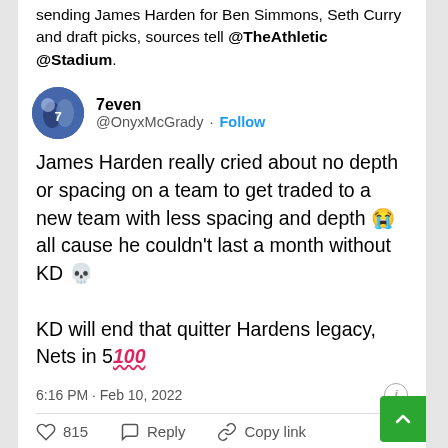sending James Harden for Ben Simmons, Seth Curry and draft picks, sources tell @TheAthletic @Stadium.
7even @OnyxMcGrady · Follow
James Harden really cried about no depth or spacing on a team to get traded to a new team with less spacing and depth 😭 all cause he couldn't last a month without KD 💀

KD will end that quitter Hardens legacy, Nets in 5💯
6:16 PM · Feb 10, 2022
♡ 815   Reply   Copy link
Read 29 replies